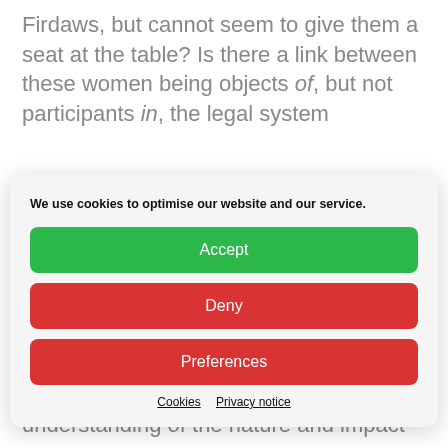Firdaws, but cannot seem to give them a seat at the table? Is there a link between these women being objects of, but not participants in, the legal system
We use cookies to optimise our website and our service.
Accept
Deny
Preferences
Cookies  Privacy notice
recognise the scale of the problem. In my view, they need to approach diversity with greater specificity and more understanding of the nature and impact